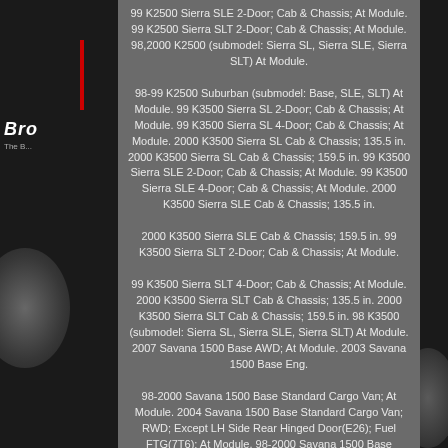99 K2500 Sierra SLE 2-Door; Cab & Chassis; At Module. 99 K2500 Sierra SLT 2-Door; Cab & Chassis; At Module. 98,2000 K2500 (submodel: Sierra SL, Sierra SLE, Sierra SLT) At Module.
98-99 K2500 Suburban (submodel: Base, SLE, SLT) At Module. 99 K3500 Sierra SL 2-Door; Cab & Chassis; At Module. 99 K3500 Sierra SL 4-Door; Cab & Chassis; At Module. 2000 K3500 Sierra SL Cab & Chassis; 135.5 in. 2000 K3500 Sierra SL Cab & Chassis; 159.5 in. 99 K3500 Sierra SLE 2-Door; Cab & Chassis; At Module. 99 K3500 Sierra SLE 4-Door; Cab & Chassis; At Module. 2000 K3500 Sierra SLE Cab & Chassis; 135.5 in.
2000 K3500 Sierra SLE Cab & Chassis; 159.5 in. 99 K3500 Sierra SLT 2-Door; Cab & Chassis; At Module.
99 K3500 Sierra SLT 4-Door; Cab & Chassis; At Module. 2000 K3500 Sierra SLT Cab & Chassis; 135.5 in. 2000 K3500 Sierra SLT Cab & Chassis; 159.5 in. 98 K3500 (submodel: Sierra SL, Sierra SLE, Sierra SLT) At Module. 2007 Savana 1500 Base AWD; At Module. 2003 Savana 1500 Base Eng.
98-2000 Savana 1500 Base Standard Cargo Van; At Module. 2004 Savana 1500 Base Standard Cargo Van; RWD; Except LH Side Rear Hinged Door(E26); Fuel FTG(7T6); At Module. 98-2000 Savana 1500 Base Standard Passenger Van; At Module. 2004 Savana 1500 Base Standard Passenger Van; RWD; Except LH Side Rear Hinged Door(E26); Fuel FTG(7T6); At Module.